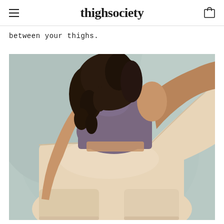thighsociety
between your thighs.
[Figure (photo): Woman shown from behind wearing a purple crop tank top and beige/nude slip shorts, pulling up the waistband of the shorts to show the product. She has long curly dark hair. Background is a soft grey-blue draped fabric.]